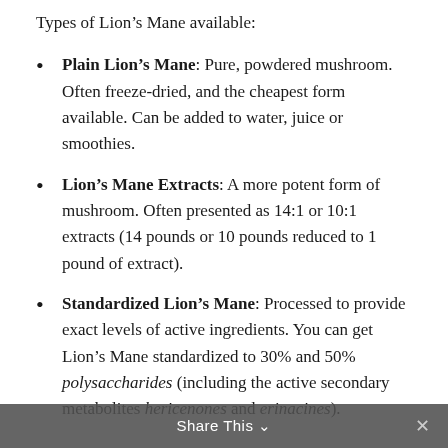Types of Lion’s Mane available:
Plain Lion’s Mane: Pure, powdered mushroom. Often freeze-dried, and the cheapest form available. Can be added to water, juice or smoothies.
Lion’s Mane Extracts: A more potent form of mushroom. Often presented as 14:1 or 10:1 extracts (14 pounds or 10 pounds reduced to 1 pound of extract).
Standardized Lion’s Mane: Processed to provide exact levels of active ingredients. You can get Lion’s Mane standardized to 30% and 50% polysaccharides (including the active secondary metabolites hericenones and erinacines).
Share This ✕